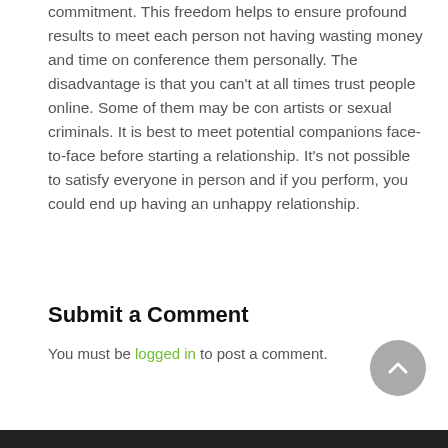commitment. This freedom helps to ensure profound results to meet each person not having wasting money and time on conference them personally. The disadvantage is that you can't at all times trust people online. Some of them may be con artists or sexual criminals. It is best to meet potential companions face-to-face before starting a relationship. It's not possible to satisfy everyone in person and if you perform, you could end up having an unhappy relationship.
Submit a Comment
You must be logged in to post a comment.